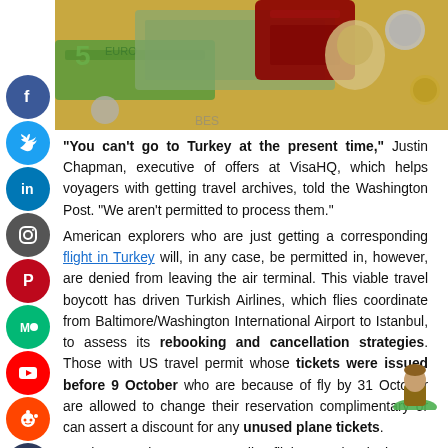[Figure (photo): Photo of passport, euro banknotes, US dollar bills, and coins scattered together]
“You can’t go to Turkey at the present time,” Justin Chapman, executive of offers at VisaHQ, which helps voyagers with getting travel archives, told the Washington Post. “We aren’t permitted to process them.” American explorers who are just getting a corresponding flight in Turkey will, in any case, be permitted in, however, are denied from leaving the air terminal. This viable travel boycott has driven Turkish Airlines, which flies coordinate from Baltimore/Washington International Airport to Istanbul, to assess its rebooking and cancellation strategies. Those with US travel permit whose tickets were issued before 9 October who are because of fly by 31 October are allowed to change their reservation complimentary or can assert a discount for any unused plane tickets. For those getting a corresponding flight to Turkey in the UK,
[Figure (illustration): Social media sharing icons sidebar: Facebook, Twitter, LinkedIn, Instagram, Pinterest, Medium, YouTube, Reddit, Tumblr, Digg]